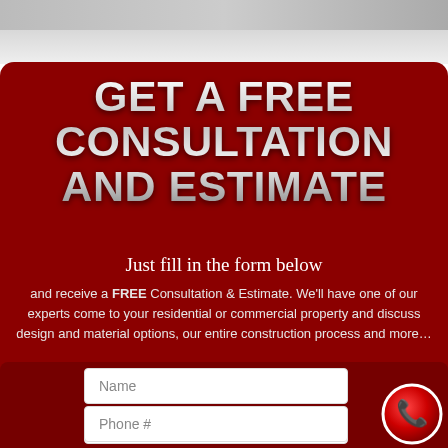GET A FREE CONSULTATION AND ESTIMATE
Just fill in the form below
and receive a FREE Consultation & Estimate. We'll have one of our experts come to your residential or commercial property and discuss design and material options, our entire construction process and more…
[Figure (infographic): Contact form with Name, Email, Phone # input fields on dark red background]